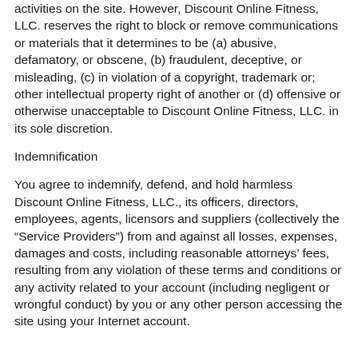activities on the site. However, Discount Online Fitness, LLC. reserves the right to block or remove communications or materials that it determines to be (a) abusive, defamatory, or obscene, (b) fraudulent, deceptive, or misleading, (c) in violation of a copyright, trademark or; other intellectual property right of another or (d) offensive or otherwise unacceptable to Discount Online Fitness, LLC. in its sole discretion.
Indemnification
You agree to indemnify, defend, and hold harmless Discount Online Fitness, LLC., its officers, directors, employees, agents, licensors and suppliers (collectively the “Service Providers”) from and against all losses, expenses, damages and costs, including reasonable attorneys’ fees, resulting from any violation of these terms and conditions or any activity related to your account (including negligent or wrongful conduct) by you or any other person accessing the site using your Internet account.